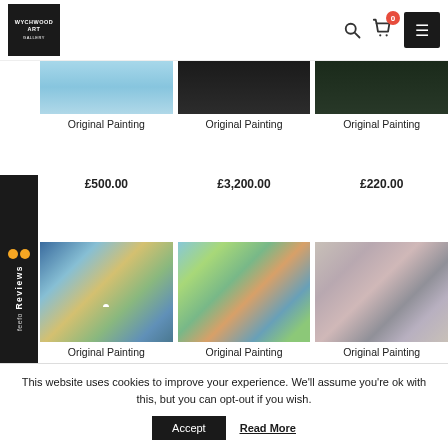[Figure (screenshot): Wychwood Art Gallery website header with logo, search icon, cart icon, and menu button]
[Figure (photo): Three product images in top row: abstract painting with blue tones, dark painting, dark green painting]
Original Painting
£500.00
Original Painting
£3,200.00
Original Painting
£220.00
[Figure (photo): Three product images in bottom row: landscape painting with bird, coastal landscape painting, abstract painting with grey tones]
Original Painting
Original Painting
Original Painting
This website uses cookies to improve your experience. We'll assume you're ok with this, but you can opt-out if you wish.
Accept
Read More